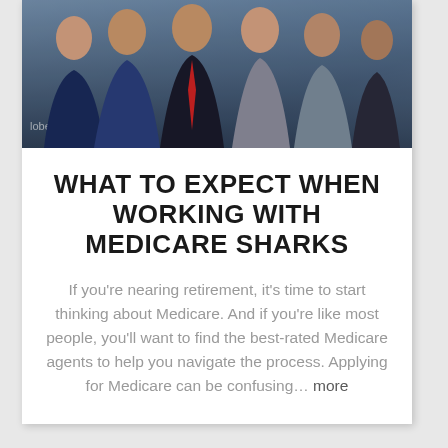[Figure (photo): Group photo of several people posing together at a formal event, with a banner visible in the background reading 'Globe L' and 'U'. The group includes people dressed in formal attire.]
WHAT TO EXPECT WHEN WORKING WITH MEDICARE SHARKS
If you're nearing retirement, it's time to start thinking about Medicare. And if you're like most people, you'll want to find the best-rated Medicare agents to help you navigate the process. Applying for Medicare can be confusing… more